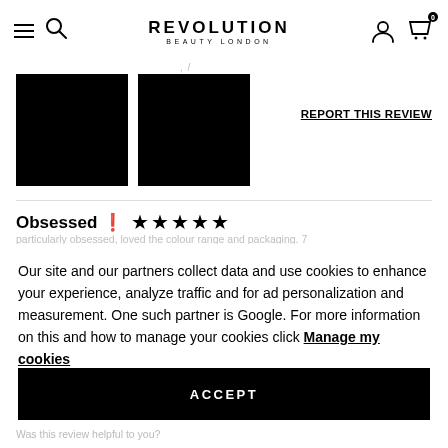REVOLUTION BEAUTY LONDON
[Figure (photo): Two black rectangular product image placeholders side by side]
REPORT THIS REVIEW
Obsessed ★★★★★
Our site and our partners collect data and use cookies to enhance your experience, analyze traffic and for ad personalization and measurement. One such partner is Google. For more information on this and how to manage your cookies click Manage my cookies
ACCEPT
Was this review helpful to you?